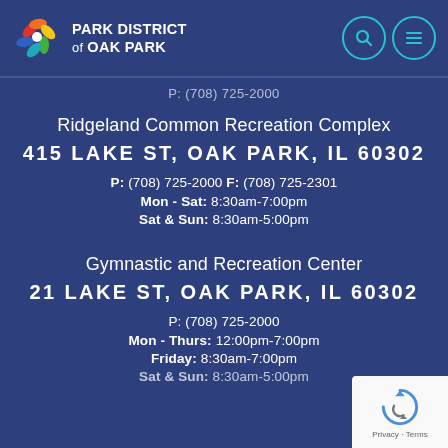Park District of Oak Park
P: (708) 725-2000
Ridgeland Common Recreation Complex
415 LAKE ST, OAK PARK, IL 60302
P: (708) 725-2000 F: (708) 725-2301
Mon - Sat: 8:30am-7:00pm
Sat & Sun: 8:30am-5:00pm
Gymnastic and Recreation Center
21 LAKE ST, OAK PARK, IL 60302
P: (708) 725-2000
Mon - Thurs: 12:00pm-7:00pm
Friday: 8:30am-7:00pm
Sat & Sun: 8:30am-5:00pm